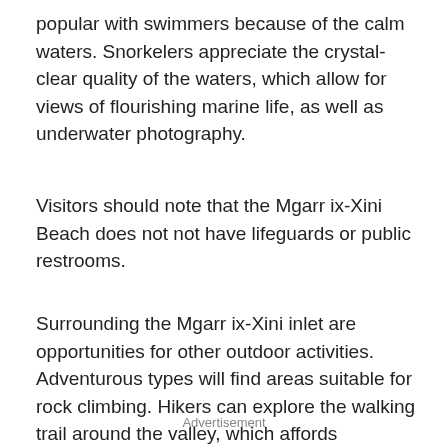popular with swimmers because of the calm waters. Snorkelers appreciate the crystal-clear quality of the waters, which allow for views of flourishing marine life, as well as underwater photography.
Visitors should note that the Mgarr ix-Xini Beach does not not have lifeguards or public restrooms.
Surrounding the Mgarr ix-Xini inlet are opportunities for other outdoor activities. Adventurous types will find areas suitable for rock climbing. Hikers can explore the walking trail around the valley, which affords magnificent views.
Advertisement